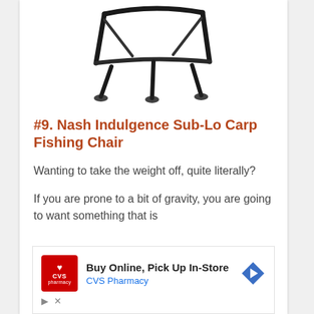[Figure (photo): Partial product photo of a Nash Indulgence Sub-Lo Carp Fishing Chair, showing the metal frame and legs from above, on white background]
#9. Nash Indulgence Sub-Lo Carp Fishing Chair
Wanting to take the weight off, quite literally?
If you are prone to a bit of gravity, you are going to want something that is
[Figure (other): CVS Pharmacy advertisement: Buy Online, Pick Up In-Store. Shows CVS Pharmacy logo (red box with heart) and a blue diamond navigation arrow icon.]